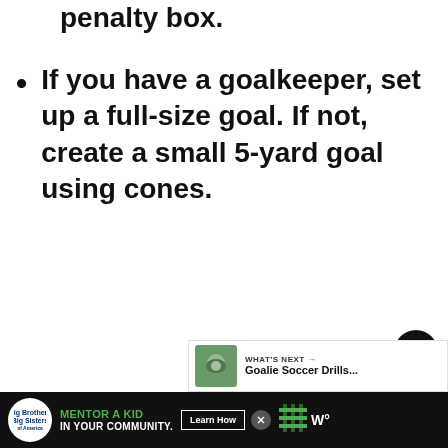penalty box.
If you have a goalkeeper, set up a full-size goal. If not, create a small 5-yard goal using cones.
[Figure (other): Heart/favorite button (black circle with white heart icon)]
[Figure (other): Share button (white circle with share icon)]
[Figure (other): What's Next promo: Goalie Soccer Drills...]
[Figure (other): Advertisement banner: Big Brothers Big Sisters — Mentor a Kid in Your Community. Learn How.]